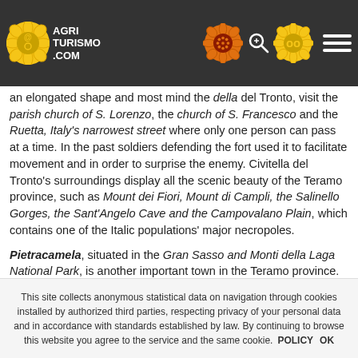AGRITURISMO.COM header with logo and navigation icons
an elongated shape and most mind the... della Ruetta, Italy's narrowest street where only one person can pass at a time. In the past soldiers defending the fort used it to facilitate movement and in order to surprise the enemy. Civitella del Tronto's surroundings display all the scenic beauty of the Teramo province, such as Mount dei Fiori, Mount di Campli, the Salinello Gorges, the Sant'Angelo Cave and the Campovalano Plain, which contains one of the Italic populations' major necropoles.
Pietracamela, situated in the Gran Sasso and Monti della Laga National Park, is another important town in the Teramo province. Forests surround the small town of Pietracamela. As with every location rich in nature and art, Pietracamela, and the province of Teramo generally, offers tasty products for the most discerning palates, such as good pecorino cheese, cold meats from the Abruzzo mountains, and to finish on a sweet note, delicious honey.
This site collects anonymous statistical data on navigation through cookies installed by authorized third parties, respecting privacy of your personal data and in accordance with standards established by law. By continuing to browse this website you agree to the service and the same cookie. POLICY OK